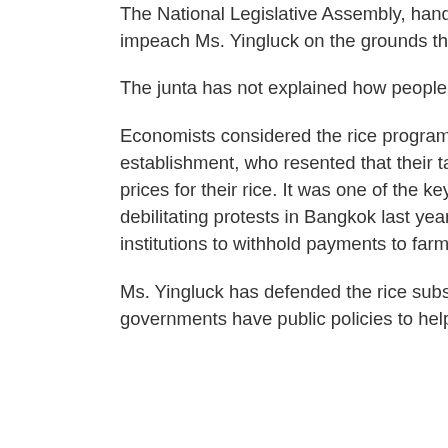The National Legislative Assembly, handpicked by the junta after the coup, voted 190 to 18 to impeach Ms. Yingluck on the grounds that the rice subsidies were a form of corruption.
The junta has not explained how people who no longer hold political office can be impeached.
Economists considered the rice program wasteful, and it angered members of the Bangkok establishment, who resented that their taxes were being used to pay farmers well above market prices for their rice. It was one of the key complaints of members of the Bangkok elite who led debilitating protests in Bangkok last year. They blocked voting in elections and pressured financial institutions to withhold payments to farmers.
Ms. Yingluck has defended the rice subsidy program as assistance for the poor. “Many governments have public policies to help